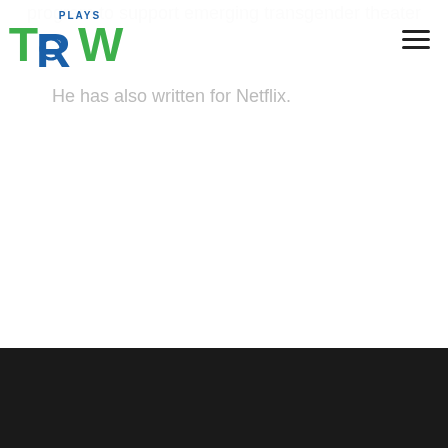program to support emerging transgender theater
[Figure (logo): TRW Plays logo with green T, blue R with circle, green W, and blue PLAYS text above]
He has also written for Netflix.